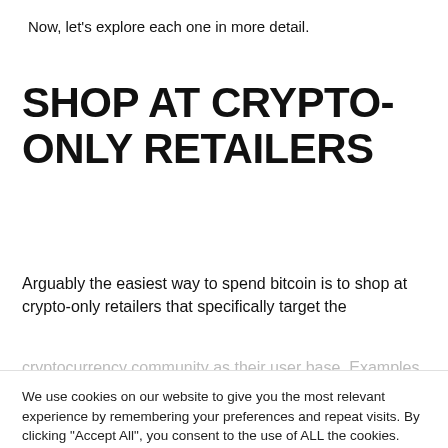Now, let's explore each one in more detail.
SHOP AT CRYPTO-ONLY RETAILERS
Arguably the easiest way to spend bitcoin is to shop at crypto-only retailers that specifically target the cryptocurrency community as their user base. Examples
We use cookies on our website to give you the most relevant experience by remembering your preferences and repeat visits. By clicking "Accept All", you consent to the use of ALL the cookies. However, you may visit "Cookie Settings" to provide a controlled consent.